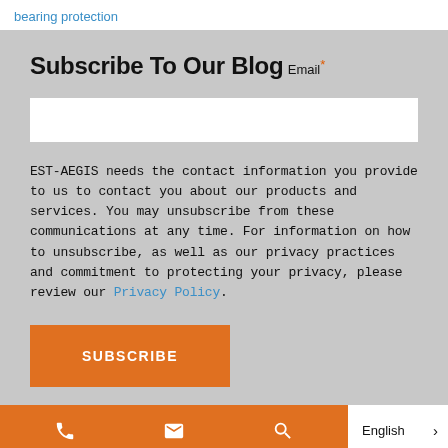bearing protection
Subscribe To Our Blog
Email *
EST-AEGIS needs the contact information you provide to us to contact you about our products and services. You may unsubscribe from these communications at any time. For information on how to unsubscribe, as well as our privacy practices and commitment to protecting your privacy, please review our Privacy Policy.
SUBSCRIBE
English >